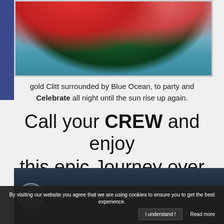[Figure (photo): Two women in bikinis sitting on a boat deck with blue ocean in the background]
gold Clitt surrounded by Blue Ocean, to party and Celebrate all night until the sun rise up again.
Call your CREW and enjoy this epic Journey over the OCEAN!
[Figure (screenshot): Video thumbnail showing anchor logo and text 'This Is THE OCEAN WEEK' with cookie consent bar overlay. Cookie bar reads: 'By visiting our website you agree that we are using cookies to ensure you to get the best experience.' with 'I understand!' and 'Read more' buttons.]